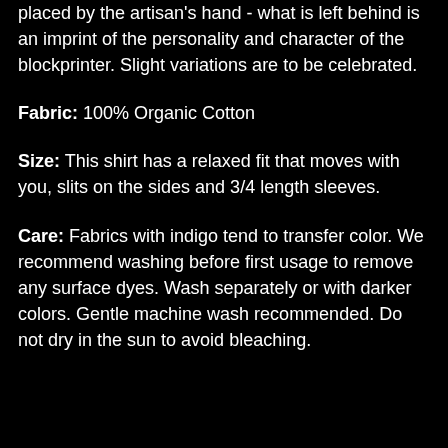placed by the artisan's hand - what is left behind is an imprint of the personality and character of the blockprinter. Slight variations are to be celebrated.
Fabric: 100% Organic Cotton
Size: This shirt has a relaxed fit that moves with you, slits on the sides and 3/4 length sleeves.
Care: Fabrics with indigo tend to transfer color. We recommend washing before first usage to remove any surface dyes. Wash separately or with darker colors. Gentle machine wash recommended. Do not dry in the sun to avoid bleaching.